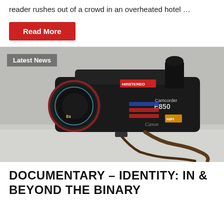reader rushes out of a crowd in an overheated hotel …
Read More
[Figure (photo): A black Canon Camcorder E850 with Hi-Fi stereo label, 8x zoom lens, and a brown leather strap lying on a light surface against a textured white wall background. Badge reads 'Latest News' in top left corner.]
DOCUMENTARY – IDENTITY: IN & BEYOND THE BINARY